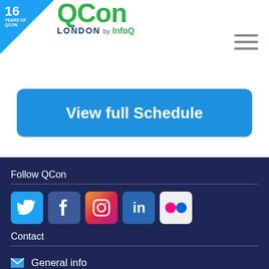16 YEARS OF QCON | QCon LONDON by InfoQ
View full Schedule
Follow QCon
[Figure (infographic): Social media icon buttons: Twitter, Facebook, Instagram, LinkedIn, Flickr]
Contact
General info
Sponsor sales